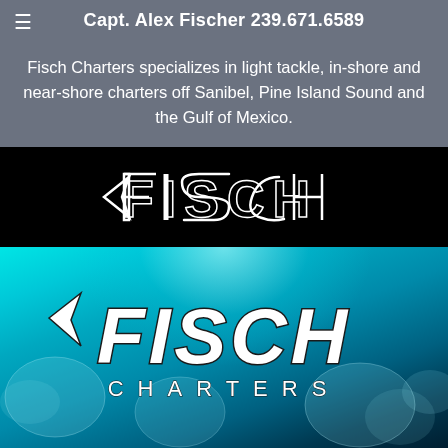Capt. Alex Fischer 239.671.6589
Fisch Charters specializes in light tackle, in-shore and near-shore charters off Sanibel, Pine Island Sound and the Gulf of Mexico.
[Figure (logo): FISCH logo in white outline on black background with fish-tail F letterform]
[Figure (logo): FISCH CHARTERS logo in white/black with fish-tail F letterform on teal underwater background with bubble/jellyfish imagery]
Fisch Charters specializes